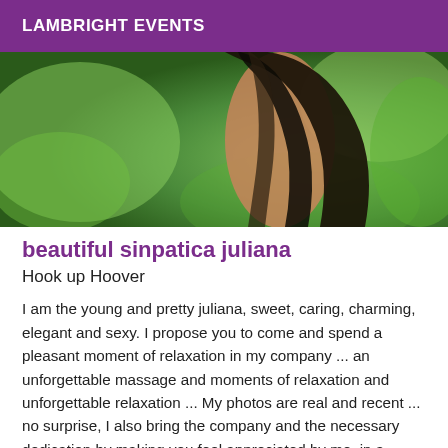LAMBRIGHT EVENTS
[Figure (photo): Close-up photo of a young woman with long dark hair, outdoors with green blurred background]
beautiful sinpatica juliana
Hook up Hoover
I am the young and pretty juliana, sweet, caring, charming, elegant and sexy. I propose you to come and spend a pleasant moment of relaxation in my company ... an unforgettable massage and moments of relaxation and unforgettable relaxation ... My photos are real and recent ... no surprise, I also bring the company and the necessary dedication by making you feel appreciated by me, in a natural way. I adapt to all situations, all contexts